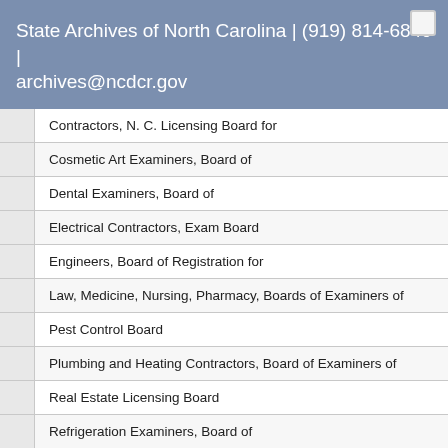State Archives of North Carolina | (919) 814-6840 | archives@ncdcr.gov
Contractors, N. C. Licensing Board for
Cosmetic Art Examiners, Board of
Dental Examiners, Board of
Electrical Contractors, Exam Board
Engineers, Board of Registration for
Law, Medicine, Nursing, Pharmacy, Boards of Examiners of
Pest Control Board
Plumbing and Heating Contractors, Board of Examiners of
Real Estate Licensing Board
Refrigeration Examiners, Board of
[<emph render="doublequote">Federal</emph> - See: Government, Federal]